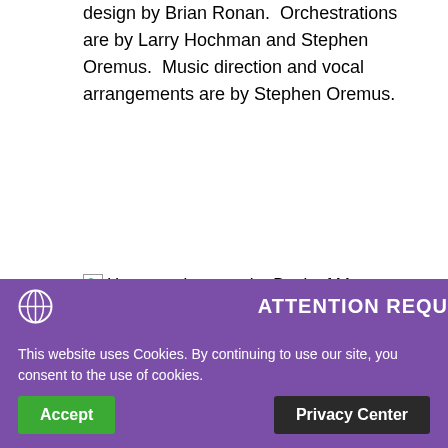design by Brian Ronan. Orchestrations are by Larry Hochman and Stephen Oremus. Music direction and vocal arrangements are by Stephen Oremus.
[Figure (other): Broken image placeholder with alt text: Have you been to the Book of Mormon Musical? It's Hilarious]
ATTENTION REQU
This website uses Cookies. By continuing to use our site, you consent to the use of cookies.
Accept
Privacy Center